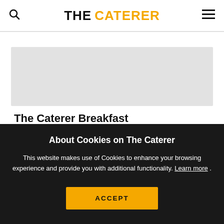THE CATERER
[Figure (photo): Gray placeholder image for The Caterer Breakfast article]
The Caterer Breakfast
About Cookies on The Caterer
This website makes use of Cookies to enhance your browsing experience and provide you with additional functionality. Learn more .
ACCEPT